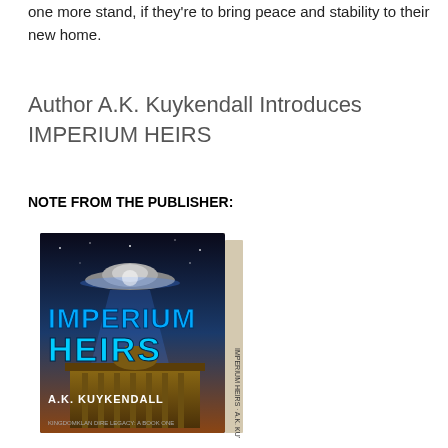one more stand, if they're to bring peace and stability to their new home.
Author A.K. Kuykendall Introduces IMPERIUM HEIRS
NOTE FROM THE PUBLISHER:
[Figure (photo): Book cover of Imperium Heirs by A.K. Kuykendall, showing a UFO/spacecraft above a government building with the title in large stylized letters and author name at bottom.]